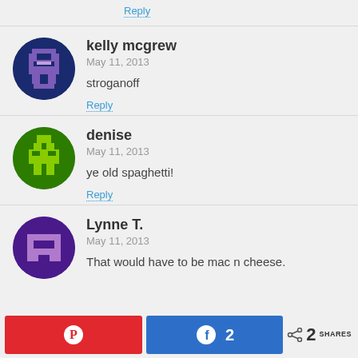Reply
kelly mcgrew
May 11, 2013
stroganoff
Reply
denise
May 11, 2013
ye old spaghetti!
Reply
Lynne T.
May 11, 2013
That would have to be mac n cheese.